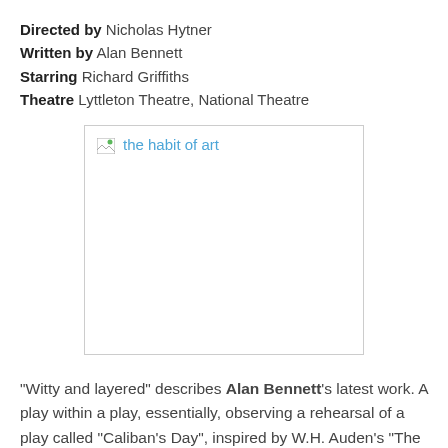Directed by Nicholas Hytner
Written by Alan Bennett
Starring Richard Griffiths
Theatre Lyttleton Theatre, National Theatre
[Figure (photo): Broken image placeholder with alt text 'the habit of art']
"Witty and layered" describes Alan Bennett's latest work. A play within a play, essentially, observing a rehearsal of a play called "Caliban's Day", inspired by W.H. Auden's "The Sea and the Mirror", The Habit of Art deals with sex, creativity and the nature of perception, providing much food for thought for the audience.